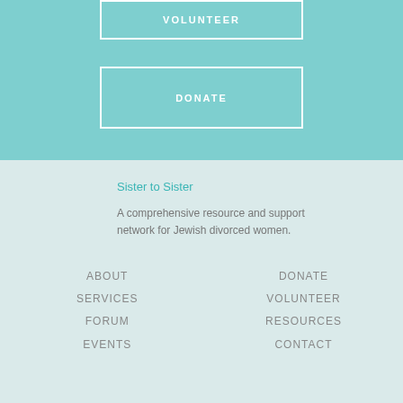VOLUNTEER
DONATE
Sister to Sister
A comprehensive resource and support network for Jewish divorced women.
ABOUT
SERVICES
FORUM
EVENTS
DONATE
VOLUNTEER
RESOURCES
CONTACT